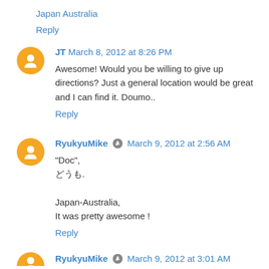Japan Australia
Reply
JT March 8, 2012 at 8:26 PM
Awesome! Would you be willing to give up directions? Just a general location would be great and I can find it. Doumo..
Reply
RyukyuMike March 9, 2012 at 2:56 AM
"Doc",
どうも。

Japan-Australia,
It was pretty awesome !
Reply
RyukyuMike March 9, 2012 at 3:01 AM